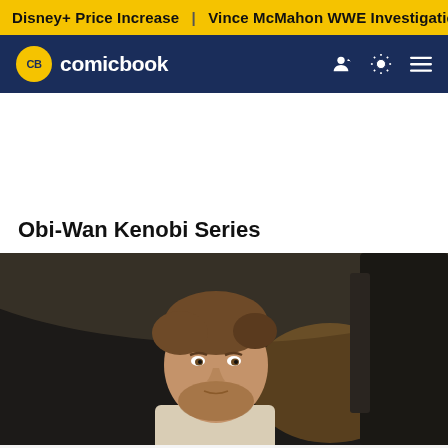Disney+ Price Increase | Vince McMahon WWE Investigation
[Figure (logo): ComicBook.com logo with CB badge in yellow circle and white nav icons for user, theme toggle, and menu]
Obi-Wan Kenobi Series
[Figure (photo): Ewan McGregor as Obi-Wan Kenobi, a man with short brown hair and beard wearing a light sweater, photographed from below inside a vehicle or spacecraft cockpit]